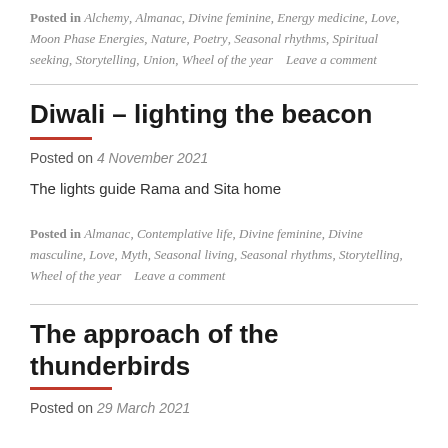Posted in Alchemy, Almanac, Divine feminine, Energy medicine, Love, Moon Phase Energies, Nature, Poetry, Seasonal rhythms, Spiritual seeking, Storytelling, Union, Wheel of the year    Leave a comment
Diwali – lighting the beacon
Posted on 4 November 2021
The lights guide Rama and Sita home
Posted in Almanac, Contemplative life, Divine feminine, Divine masculine, Love, Myth, Seasonal living, Seasonal rhythms, Storytelling, Wheel of the year    Leave a comment
The approach of the thunderbirds
Posted on 29 March 2021